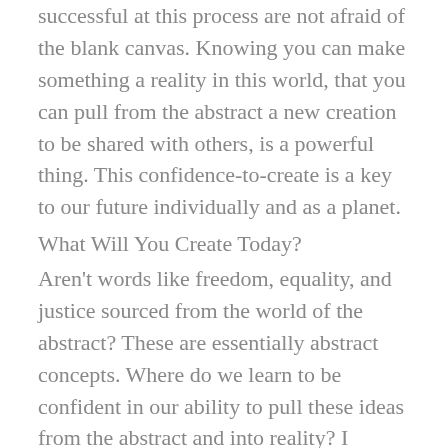successful at this process are not afraid of the blank canvas. Knowing you can make something a reality in this world, that you can pull from the abstract a new creation to be shared with others, is a powerful thing. This confidence-to-create is a key to our future individually and as a planet.
What Will You Create Today?
Aren't words like freedom, equality, and justice sourced from the world of the abstract? These are essentially abstract concepts. Where do we learn to be confident in our ability to pull these ideas from the abstract and into reality? I suggest that nurturing our confidence-to-create as children through art, music, dance, creative writing and drama has an impact on our global quality of life that goes beyond what any